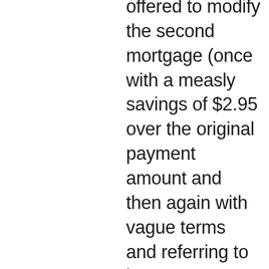offered to modify the second mortgage (once with a measly savings of $2.95 over the original payment amount and then again with vague terms and referring to it as a HELOC which it is not – we rejected both offers). The second mortgage has been in default since 3/2009 and has not been charged off. We did once try to settle but was told they don't do settlements and on another attempt, they rejected the offer. Any advice on how to settle this loan and be rid of it once and for all? We've successfully settled other debts with no problem, but BOA will not budge on settling this loan. The second is almost completely unsecured (house is worth 469K,